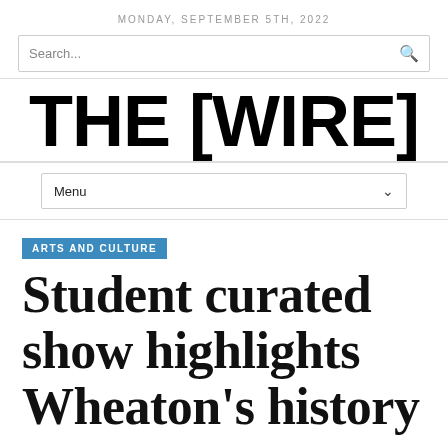MONDAY, SEPTEMBER 5TH, 2022
Search...
THE [WIRE]
Menu
ARTS AND CULTURE
Student curated show highlights Wheaton's history